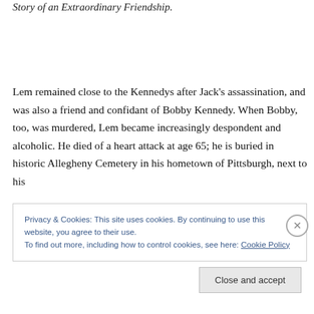Story of an Extraordinary Friendship.
Lem remained close to the Kennedys after Jack's assassination, and was also a friend and confidant of Bobby Kennedy. When Bobby, too, was murdered, Lem became increasingly despondent and alcoholic. He died of a heart attack at age 65; he is buried in historic Allegheny Cemetery in his hometown of Pittsburgh, next to his
Privacy & Cookies: This site uses cookies. By continuing to use this website, you agree to their use.
To find out more, including how to control cookies, see here: Cookie Policy
Close and accept